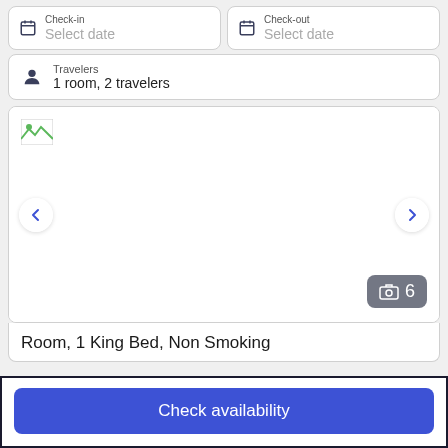Check-in Select date
Check-out Select date
Travelers 1 room, 2 travelers
[Figure (screenshot): Hotel room photo carousel showing a white/empty image area with left and right navigation arrows and a photo count badge showing '6']
Room, 1 King Bed, Non Smoking
Check availability